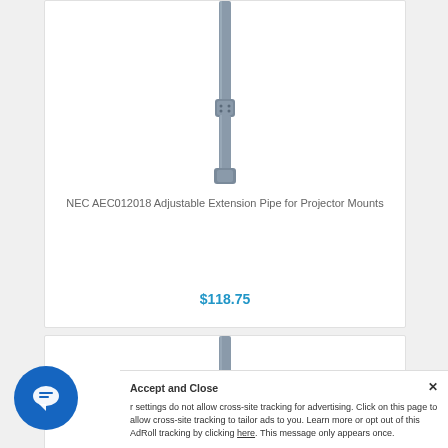[Figure (photo): Adjustable extension pipe — gray metal tube, top card]
NEC AEC012018 Adjustable Extension Pipe for Projector Mounts
$118.75
[Figure (photo): Adjustable extension pipe — gray metal tube, bottom card (partial)]
Accept and Close ×
r settings do not allow cross-site tracking for advertising. Click on this page to allow cross-site tracking to tailor ads to you. Learn more or opt out of this AdRoll tracking by clicking here. This message only appears once.